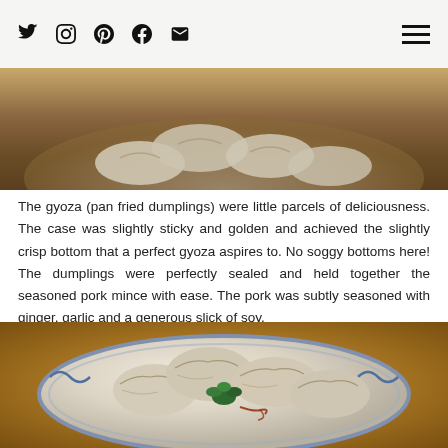Social media icons: Twitter, Instagram, Pinterest, Facebook, Email; Hamburger menu
[Figure (photo): Top portion of a food photo showing dumplings/gyoza on a plate with warm orange/brown background, partially cropped]
The gyoza (pan fried dumplings) were little parcels of deliciousness. The case was slightly sticky and golden and achieved the slightly crisp bottom that a perfect gyoza aspires to. No soggy bottoms here! The dumplings were perfectly sealed and held together the seasoned pork mince with ease. The pork was subtly seasoned with ginger, garlic and a generous slick of soy.
[Figure (photo): Close-up photo of gyoza (pan fried dumplings) arranged on a blue and white decorative plate with a green herb garnish in the center and a drizzle of soy sauce, set on an orange/wooden background]